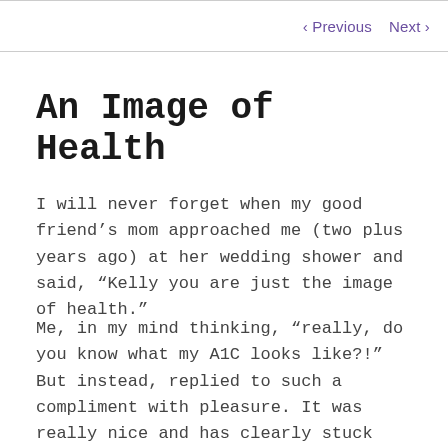< Previous   Next >
An Image of Health
I will never forget when my good friend’s mom approached me (two plus years ago) at her wedding shower and said, “Kelly you are just the image of health.”
Me, in my mind thinking, “really, do you know what my A1C looks like?!” But instead, replied to such a compliment with pleasure. It was really nice and has clearly stuck with me over the years.